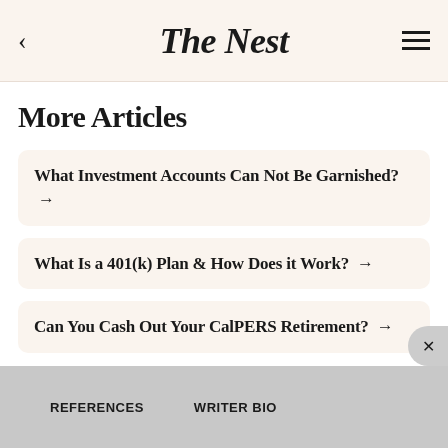The Nest
More Articles
What Investment Accounts Can Not Be Garnished? →
What Is a 401(k) Plan & How Does it Work? →
Can You Cash Out Your CalPERS Retirement? →
REFERENCES   WRITER BIO